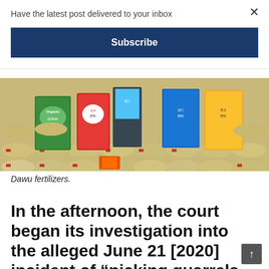Have the latest post delivered to your inbox
Subscribe
[Figure (photo): Stacked bags of Dawu fertilizers with colorful branded packaging in green, red, and yellow]
Dawu fertilizers.
In the afternoon, the court began its investigation into the alleged June 21 [2020] incident of “picking quarrels and provoking trouble